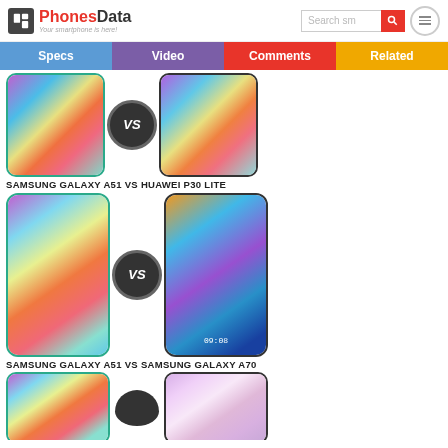PhonesData - Your smartphone is here!
[Figure (screenshot): Navigation tabs: Specs, Video, Comments, Related]
SAMSUNG GALAXY A51 VS HUAWEI P30 LITE
[Figure (photo): Samsung Galaxy A51 vs Huawei P30 Lite phone comparison images with VS badge]
SAMSUNG GALAXY A51 VS SAMSUNG GALAXY A70
[Figure (photo): Samsung Galaxy A51 vs Samsung Galaxy A70 phone comparison images with VS badge]
[Figure (photo): Samsung Galaxy A51 vs another phone comparison images partially visible]